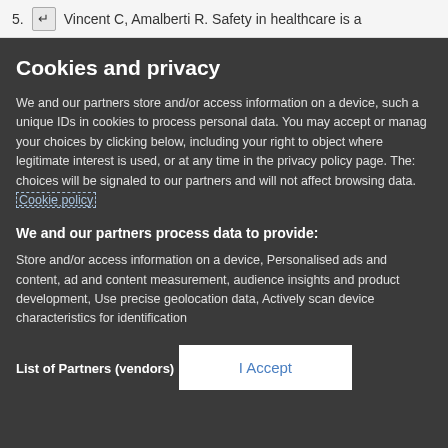5. ↵ Vincent C, Amalberti R. Safety in healthcare is a
Cookies and privacy
We and our partners store and/or access information on a device, such a unique IDs in cookies to process personal data. You may accept or manage your choices by clicking below, including your right to object where legitimate interest is used, or at any time in the privacy policy page. These choices will be signaled to our partners and will not affect browsing data. Cookie policy
We and our partners process data to provide:
Store and/or access information on a device, Personalised ads and content, ad and content measurement, audience insights and product development, Use precise geolocation data, Actively scan device characteristics for identification
List of Partners (vendors)
I Accept